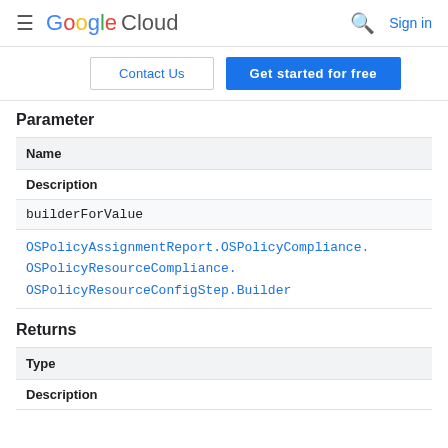Google Cloud  Sign in
Contact Us  Get started for free
Parameter
| Name |
| --- |
| Description |
| builderForValue |
| OSPolicyAssignmentReport.OSPolicyCompliance.
OSPolicyResourceCompliance.
OSPolicyResourceConfigStep.Builder |
Returns
| Type |
| --- |
| Description |